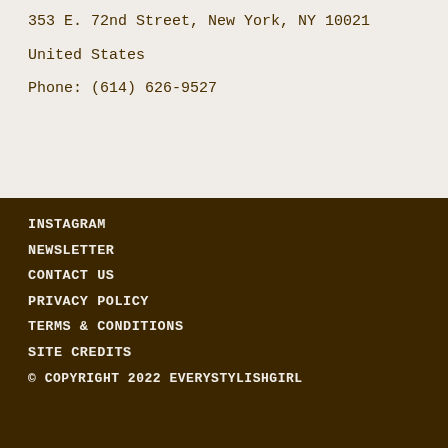353 E. 72nd Street, New York, NY 10021
United States
Phone: (614) 626-9527
INSTAGRAM
NEWSLETTER
CONTACT US
PRIVACY POLICY
TERMS & CONDITIONS
SITE CREDITS
© COPYRIGHT 2022 EVERYSTYLISHGIRL